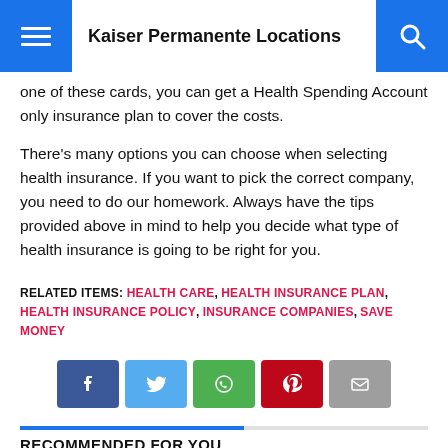Kaiser Permanente Locations
one of these cards, you can get a Health Spending Account only insurance plan to cover the costs.
There's many options you can choose when selecting health insurance. If you want to pick the correct company, you need to do our homework. Always have the tips provided above in mind to help you decide what type of health insurance is going to be right for you.
RELATED ITEMS: HEALTH CARE, HEALTH INSURANCE PLAN, HEALTH INSURANCE POLICY, INSURANCE COMPANIES, SAVE MONEY
[Figure (infographic): Social share buttons: Facebook, Twitter, WhatsApp, Pinterest, Email]
RECOMMENDED FOR YOU
Living Without Health Insurance Is Not